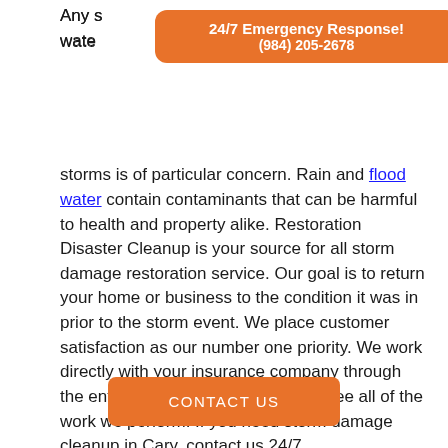Any storm damage that involves contact with water from storms is of particular concern. Rain and flood water contain contaminants that can be harmful to health and property alike. Restoration Disaster Cleanup is your source for all storm damage restoration service. Our goal is to return your home or business to the condition it was in prior to the storm event. We place customer satisfaction as our number one priority. We work directly with your insurance company through the entire claim process and guarantee all of the work we perform. If you need storm damage cleanup in Cary, contact us 24/7.
[Figure (infographic): Orange banner overlay with text '24/7 Emergency Response!' and phone number '(984) 205-2678']
CONTACT US